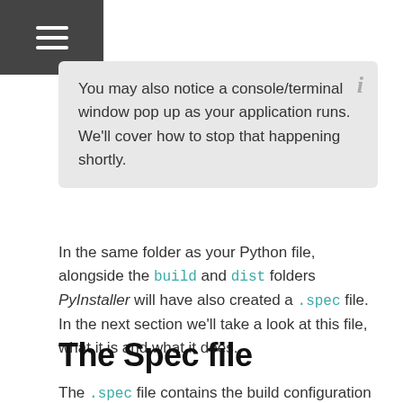☰
You may also notice a console/terminal window pop up as your application runs. We'll cover how to stop that happening shortly.
In the same folder as your Python file, alongside the build and dist folders PyInstaller will have also created a .spec file. In the next section we'll take a look at this file, what it is and what it does.
The Spec file
The .spec file contains the build configuration and